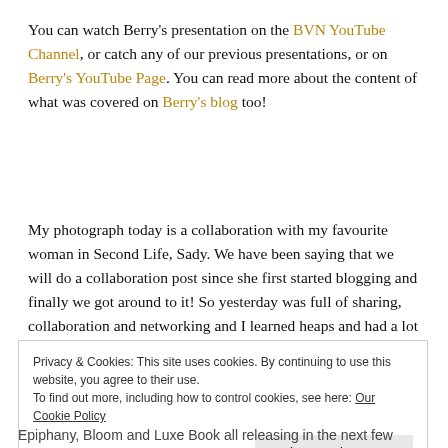You can watch Berry's presentation on the BVN YouTube Channel, or catch any of our previous presentations, or on Berry's YouTube Page. You can read more about the content of what was covered on Berry's blog too!
My photograph today is a collaboration with my favourite woman in Second Life, Sady. We have been saying that we will do a collaboration post since she first started blogging and finally we got around to it! So yesterday was full of sharing, collaboration and networking and I learned heaps and had a lot of fun in the process!
Privacy & Cookies: This site uses cookies. By continuing to use this website, you agree to their use. To find out more, including how to control cookies, see here: Our Cookie Policy
Close and accept
Epiphany, Bloom and Luxe Book all releasing in the next few